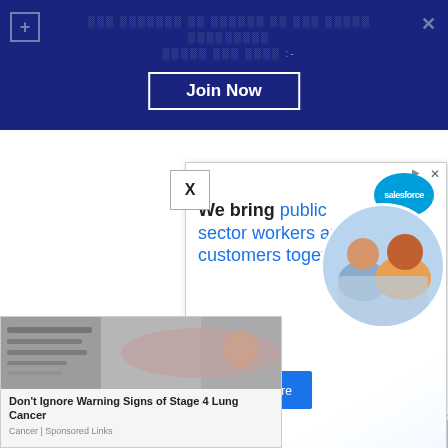[Figure (screenshot): Dark blue banner notification in Hindi script with 'Join Now' button and close/plus icons]
[Figure (screenshot): Salesforce advertisement overlay: 'We bring public sector workers and customers together.' with Find out more button, Salesforce logo, photo of two people working on laptop, and mascot characters]
[Figure (screenshot): Cancer sponsored ad: Don't Ignore Warning Signs of Stage 4 Lung Cancer - Cancer | Sponsored Links]
| Name/Role | Qualification |
| --- | --- |
| Me[dical] | [Specialty] |
| [image] | MD/MS in Specialty concerned /DNB |
| [image] | MDS/BDS |
| Dental Officer |  |